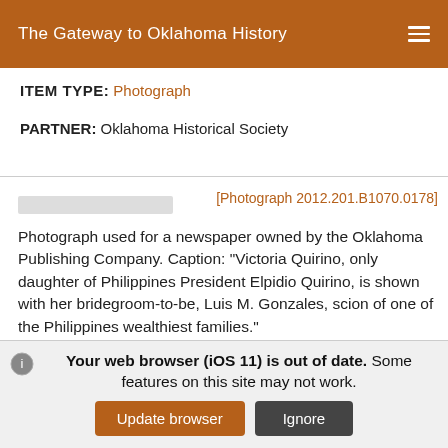The Gateway to Oklahoma History
ITEM TYPE: Photograph
PARTNER: Oklahoma Historical Society
[Photograph 2012.201.B1070.0178]
Photograph used for a newspaper owned by the Oklahoma Publishing Company. Caption: "Victoria Quirino, only daughter of Philippines President Elpidio Quirino, is shown with her bridegroom-to-be, Luis M. Gonzales, scion of one of the Philippines wealthiest families."
DATE: July 3, 1950
Your web browser (iOS 11) is out of date. Some features on this site may not work.